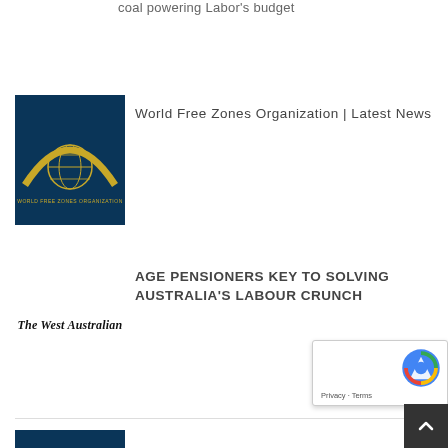coal powering Labor's budget
[Figure (logo): World Free Zones Organization logo — dark teal background with gold arch and globe]
World Free Zones Organization | Latest News
[Figure (logo): The West Australian newspaper logo]
AGE PENSIONERS KEY TO SOLVING AUSTRALIA'S LABOUR CRUNCH
[Figure (logo): World Free Zones Organization logo — dark teal background with gold arch and globe]
World Free Zones Organization | Latest News